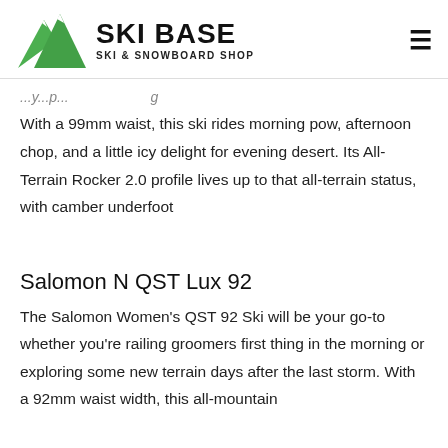SKI BASE - SKI & SNOWBOARD SHOP
With a 99mm waist, this ski rides morning pow, afternoon chop, and a little icy delight for evening desert. Its All-Terrain Rocker 2.0 profile lives up to that all-terrain status, with camber underfoot
Salomon N QST Lux 92
The Salomon Women's QST 92 Ski will be your go-to whether you're railing groomers first thing in the morning or exploring some new terrain days after the last storm. With a 92mm waist width, this all-mountain